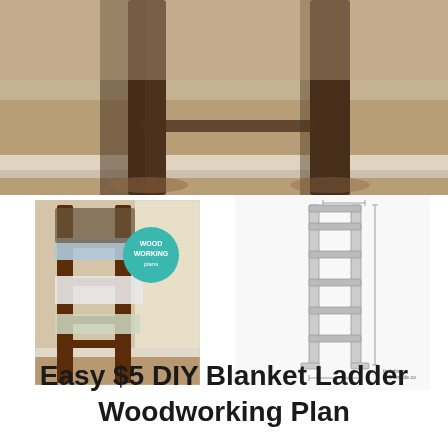[Figure (photo): Close-up photo of a dark wooden blanket ladder leaning against a wall, showing the bottom legs and rungs on hardwood floor]
[Figure (photo): Photo of a dark walnut wooden blanket ladder with blankets draped over rungs, leaning against a wall. Has a circular teal 'Wood Working' logo badge overlaid.]
[Figure (engineering-diagram): Technical line drawing / schematic of a blanket ladder showing dimensions and construction details]
Easy $5 DIY Blanket Ladder Woodworking Plan